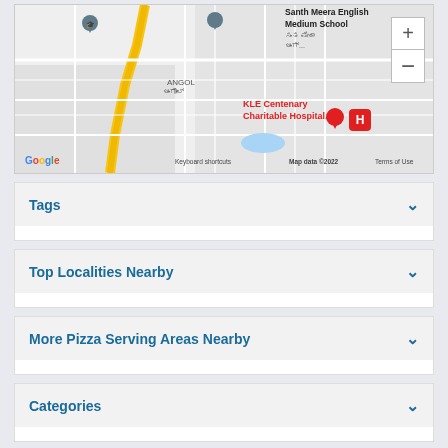[Figure (map): Google Maps screenshot showing KLE Centenary Charitable Hospital, Santh Meera English Medium School, ANGOL area with street map, zoom controls, Google logo, and map attribution footer.]
Tags
Top Localities Nearby
More Pizza Serving Areas Nearby
Categories
Top Rated Domino's Restaurants Nearby -